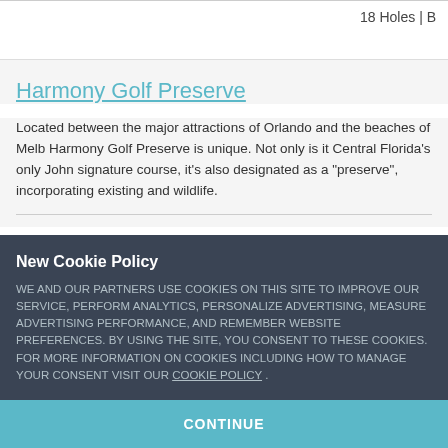18 Holes | B
Harmony Golf Preserve
Located between the major attractions of Orlando and the beaches of Melb Harmony Golf Preserve is unique. Not only is it Central Florida's only John signature course, it's also designated as a "preserve", incorporating existing and wildlife.
New Cookie Policy
WE AND OUR PARTNERS USE COOKIES ON THIS SITE TO IMPROVE OUR SERVICE, PERFORM ANALYTICS, PERSONALIZE ADVERTISING, MEASURE ADVERTISING PERFORMANCE, AND REMEMBER WEBSITE PREFERENCES. BY USING THE SITE, YOU CONSENT TO THESE COOKIES. FOR MORE INFORMATION ON COOKIES INCLUDING HOW TO MANAGE YOUR CONSENT VISIT OUR COOKIE POLICY .
CONTINUE